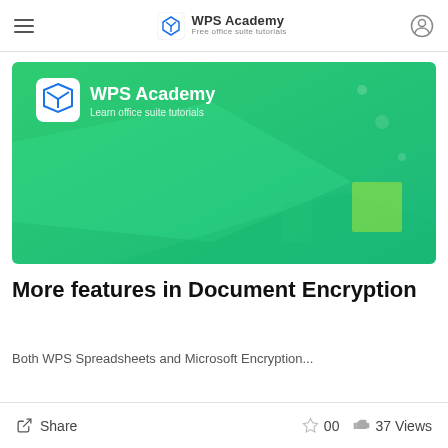WPS Academy — Free office suite tutorials
[Figure (screenshot): WPS Academy branded green gradient thumbnail image with WPS logo and text 'WPS Academy — Learn office suite tutorials']
More features in Document Encryption
Both WPS Spreadsheets and Microsoft Encryption...
Share   00   37 Views